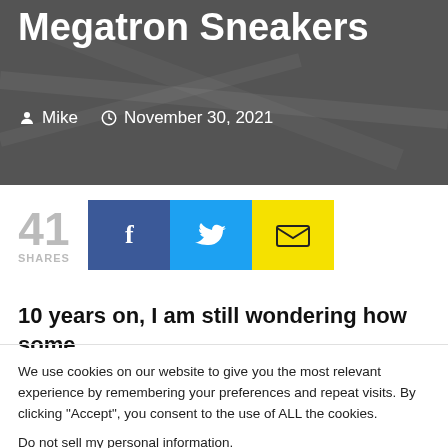[Figure (photo): Hero image with dark gray background showing sneakers, with title 'Megatron Sneakers' overlaid in white bold text and author/date metadata below it.]
Megatron Sneakers
Mike   November 30, 2021
[Figure (infographic): Social share bar showing 41 SHARES count, Facebook share button (blue), Twitter share button (cyan), and email share button (yellow).]
10 years on, I am still wondering how some
We use cookies on our website to give you the most relevant experience by remembering your preferences and repeat visits. By clicking “Accept”, you consent to the use of ALL the cookies.
Do not sell my personal information.
Cookie Settings   Accept